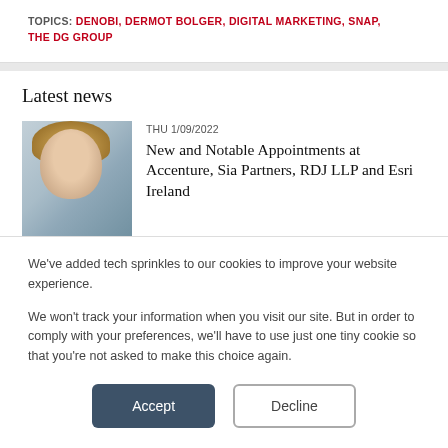TOPICS: DENOBI, DERMOT BOLGER, DIGITAL MARKETING, SNAP, THE DG GROUP
Latest news
THU 1/09/2022
New and Notable Appointments at Accenture, Sia Partners, RDJ LLP and Esri Ireland
THU 1/09/2022
We've added tech sprinkles to our cookies to improve your website experience.

We won't track your information when you visit our site. But in order to comply with your preferences, we'll have to use just one tiny cookie so that you're not asked to make this choice again.
Accept
Decline